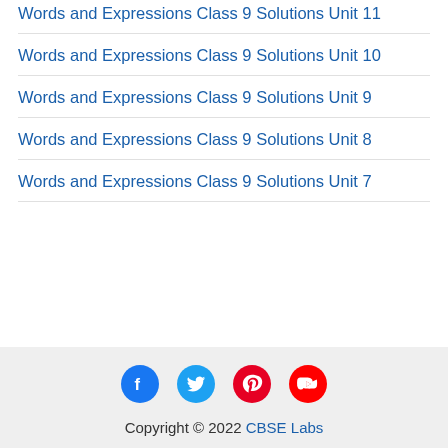Words and Expressions Class 9 Solutions Unit 11
Words and Expressions Class 9 Solutions Unit 10
Words and Expressions Class 9 Solutions Unit 9
Words and Expressions Class 9 Solutions Unit 8
Words and Expressions Class 9 Solutions Unit 7
Copyright © 2022 CBSE Labs